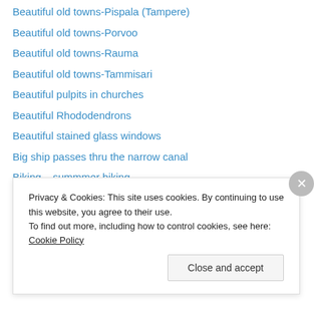Beautiful old towns-Pispala (Tampere)
Beautiful old towns-Porvoo
Beautiful old towns-Rauma
Beautiful old towns-Tammisari
Beautiful pulpits in churches
Beautiful Rhododendrons
Beautiful stained glass windows
Big ship passes thru the narrow canal
Biking – summmer biking
Biking – winter biking 2
Biking – winter biking 3
Biking – winter biking 1
Blue Saimaa
Bobbin Lace
Privacy & Cookies: This site uses cookies. By continuing to use this website, you agree to their use.
To find out more, including how to control cookies, see here: Cookie Policy
Close and accept